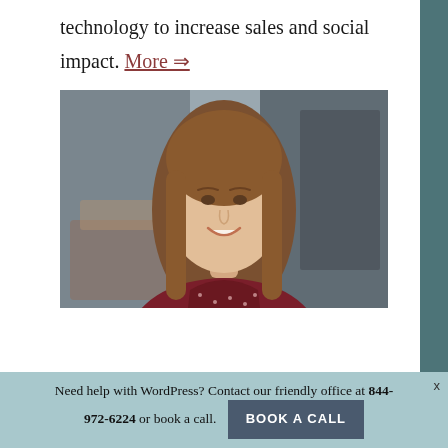technology to increase sales and social impact. More ⇒
[Figure (photo): Professional headshot of a young woman with long straight brown hair, smiling, wearing a dark red polka dot top, against an office/interior background.]
Need help with WordPress? Contact our friendly office at 844-972-6224 or book a call. BOOK A CALL